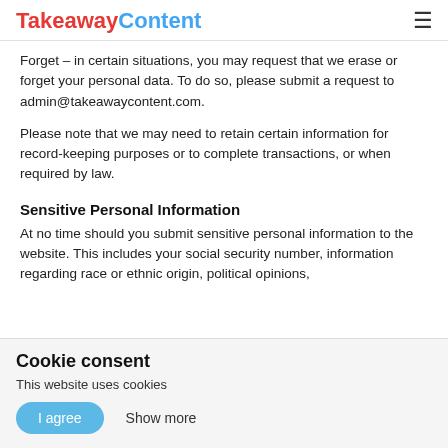TakeawayContent
Forget – in certain situations, you may request that we erase or forget your personal data. To do so, please submit a request to admin@takeawaycontent.com.
Please note that we may need to retain certain information for record-keeping purposes or to complete transactions, or when required by law.
Sensitive Personal Information
At no time should you submit sensitive personal information to the website. This includes your social security number, information regarding race or ethnic origin, political opinions,
Cookie consent
This website uses cookies
I agree  Show more